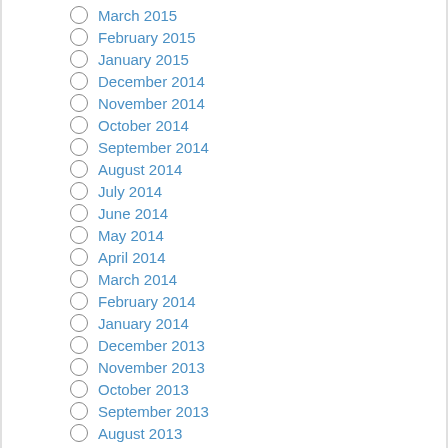March 2015
February 2015
January 2015
December 2014
November 2014
October 2014
September 2014
August 2014
July 2014
June 2014
May 2014
April 2014
March 2014
February 2014
January 2014
December 2013
November 2013
October 2013
September 2013
August 2013